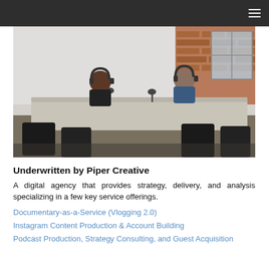[Figure (photo): Two people sitting at a conference table in a modern office room with exposed brick wall and large window, wearing headphones, with microphones on the table suggesting a podcast or recording session.]
Underwritten by Piper Creative
A digital agency that provides strategy, delivery, and analysis specializing in a few key service offerings.
Documentary-as-a-Service (Vlogging 2.0)
Instagram Content Production & Account Building
Podcast Production, Strategy Consulting, and Guest Acquisition